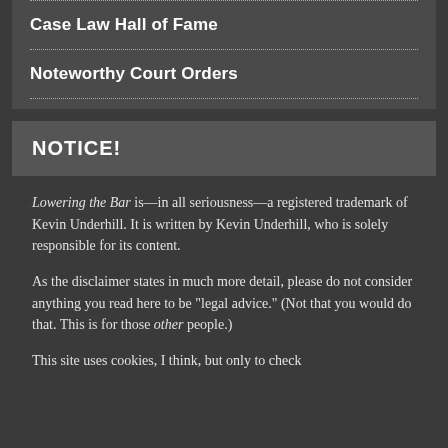Case Law Hall of Fame
Noteworthy Court Orders
NOTICE!
Lowering the Bar is—in all seriousness—a registered trademark of Kevin Underhill. It is written by Kevin Underhill, who is solely responsible for its content.
As the disclaimer states in much more detail, please do not consider anything you read here to be "legal advice." (Not that you would do that. This is for those other people.)
This site uses cookies, I think, but only to check